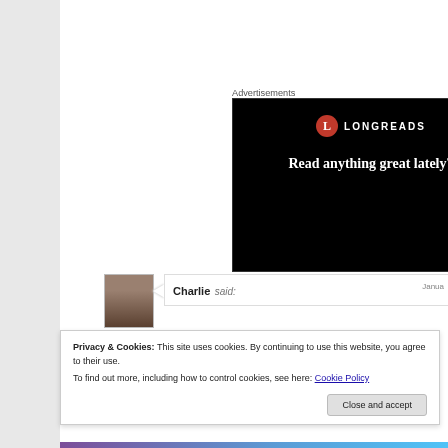Advertisements
[Figure (screenshot): Longreads advertisement banner on black background with red circle L logo, brand name LONGREADS, and text 'Read anything great lately?']
Charlie said:
Janua
Privacy & Cookies: This site uses cookies. By continuing to use this website, you agree to their use.
To find out more, including how to control cookies, see here: Cookie Policy
Close and accept